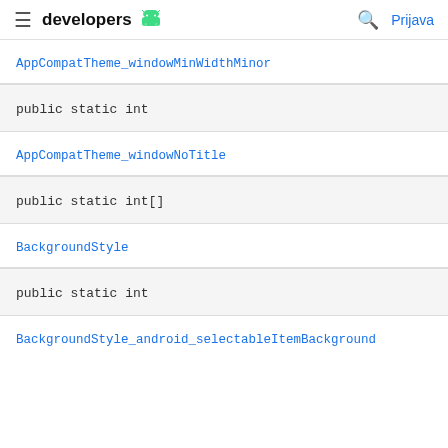≡ developers 🤖  🔍 Prijava
AppCompatTheme_windowMinWidthMinor
public static int
AppCompatTheme_windowNoTitle
public static int[]
BackgroundStyle
public static int
BackgroundStyle_android_selectableItemBackground